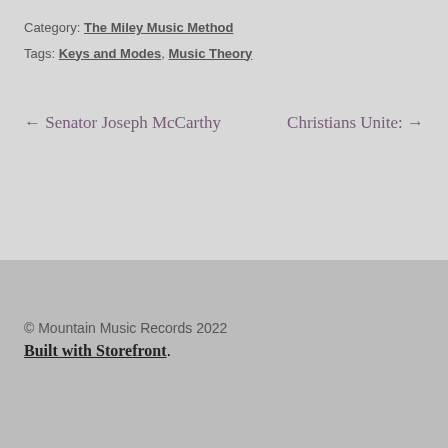Category: The Miley Music Method
Tags: Keys and Modes, Music Theory
← Senator Joseph McCarthy
Christians Unite: →
© Mountain Music Records 2022
Built with Storefront.